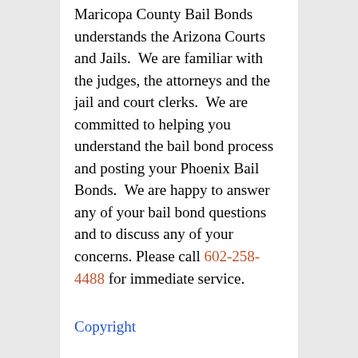Maricopa County Bail Bonds understands the Arizona Courts and Jails. We are familiar with the judges, the attorneys and the jail and court clerks. We are committed to helping you understand the bail bond process and posting your Phoenix Bail Bonds. We are happy to answer any of your bail bond questions and to discuss any of your concerns. Please call 602-258-4488 for immediate service.
Copyright